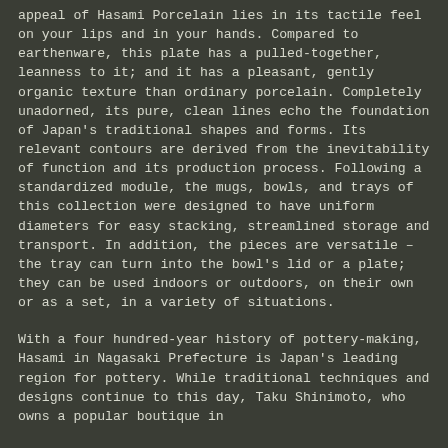appeal of Hasami Porcelain lies in its tactile feel on your lips and in your hands. Compared to earthenware, this plate has a pulled-together, leanness to it; and it has a pleasant, gently organic texture than ordinary porcelain. Completely unadorned, its pure, clean lines echo the foundation of Japan's traditional shapes and forms. Its relevant contours are derived from the inevitability of function and its production process. Following a standardized module, the mugs, bowls, and trays of this collection were designed to have uniform diameters for easy stacking, streamlined storage and transport. In addition, the pieces are versatile – the tray can turn into the bowl's lid or a plate; they can be used indoors or outdoors, on their own or as a set, in a variety of situations.
With a four hundred-year history of pottery-making, Hasami in Nagasaki Prefecture is Japan's leading region for pottery. While traditional techniques and designs continue to this day, Taku Shinimoto, who owns a popular boutique in